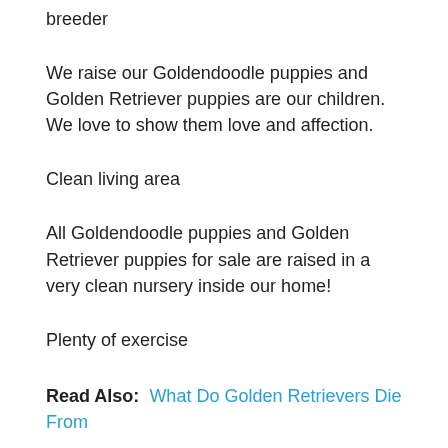breeder
We raise our Goldendoodle puppies and Golden Retriever puppies are our children. We love to show them love and affection.
Clean living area
All Goldendoodle puppies and Golden Retriever puppies for sale are raised in a very clean nursery inside our home!
Plenty of exercise
Read Also:  What Do Golden Retrievers Die From
Miniature Golden Retriever